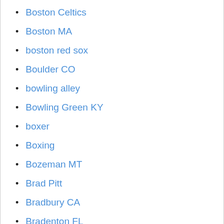Boston Celtics
Boston MA
boston red sox
Boulder CO
bowling alley
Bowling Green KY
boxer
Boxing
Bozeman MT
Brad Pitt
Bradbury CA
Bradenton FL
bradjapheblog
Brady Bunch House
Brainerd MN
branding
Brandon MS
Branford CT
Branson MO